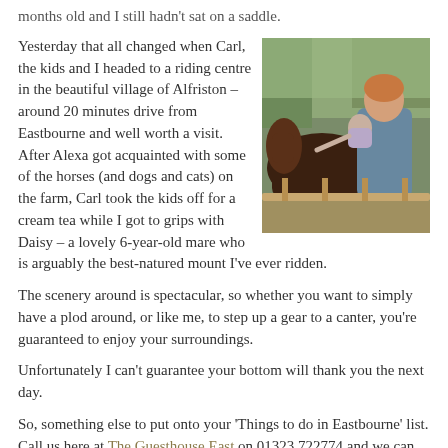months old and I still hadn't sat on a saddle.
Yesterday that all changed when Carl, the kids and I headed to a riding centre in the beautiful village of Alfriston – around 20 minutes drive from Eastbourne and well worth a visit. After Alexa got acquainted with some of the horses (and dogs and cats) on the farm, Carl took the kids off for a cream tea while I got to grips with Daisy – a lovely 6-year-old mare who is arguably the best-natured mount I've ever ridden.
[Figure (photo): A person holding a baby while the baby reaches toward a brown horse near a wooden fence, outdoors with trees in background.]
The scenery around is spectacular, so whether you want to simply have a plod around, or like me, to step up a gear to a canter, you're guaranteed to enjoy your surroundings.
Unfortunately I can't guarantee your bottom will thank you the next day.
So, something else to put onto your 'Things to do in Eastbourne' list. Call us here at The Guesthouse East on 01323 722774 and we can help arrange horse-riding. And indeed the massage to help you recover.